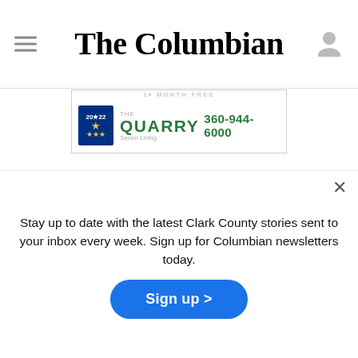The Columbian
[Figure (other): Advertisement for The Quarry Senior Living with phone number 360-944-6000]
At a press conference Friday, Clark County Sheriff Chuck Atkins said a narcotics investigation led to deputies chasing Peterson
Stay up to date with the latest Clark County stories sent to your inbox every week. Sign up for Columbian newsletters today.